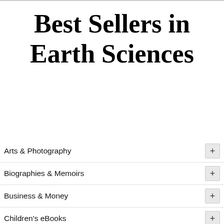Best Sellers in Earth Sciences
Arts & Photography
Biographies & Memoirs
Business & Money
Children's eBooks
Comics, Manga & Graphic Novels
Computers & Technology